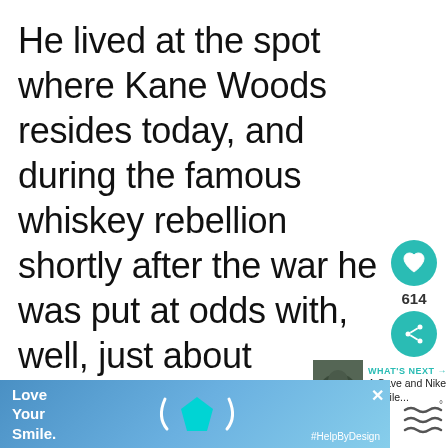He lived at the spot where Kane Woods resides today, and during the famous whiskey rebellion shortly after the war he was put at odds with, well, just about everyone. Neville's house was burnt down in the rebellion after a farmer was killed, he took refuge at what is
[Figure (screenshot): Social media UI overlay with heart/like button showing 614 likes, share button, and 'What's Next' thumbnail link to 'A Cave and Nike Missile...' article]
[Figure (screenshot): Advertisement banner: Love Your Smile dental ad with cyan tooth/mouth icon and #HelpByDesign hashtag on blue gradient background]